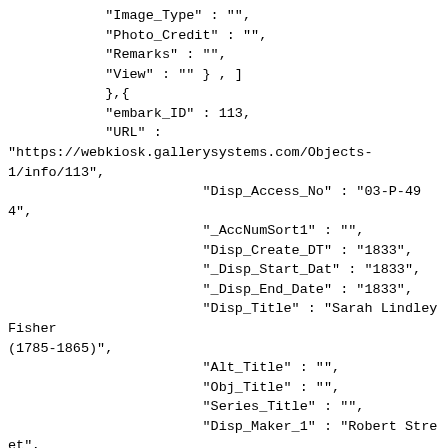"Image_Type" : "",
            "Photo_Credit" : "",
            "Remarks" : "",
            "View" : "" } , ]
            },{
            "embark_ID" : 113,
            "URL" :
"https://webkiosk.gallerysystems.com/Objects-1/info/113",
                        "Disp_Access_No" : "03-P-494",
                        "_AccNumSort1" : "",
                        "Disp_Create_DT" : "1833",
                        "_Disp_Start_Dat" : "1833",
                        "_Disp_End_Date" : "1833",
                        "Disp_Title" : "Sarah Lindley Fisher (1785-1865)",
                        "Alt_Title" : "",
                        "Obj_Title" : "",
                        "Series_Title" : "",
                        "Disp_Maker_1" : "Robert Street",
                        "Sort_Artist" : "Street, Robert",
                        "Disp_Dimen" : "29 1/2 x 24 1/2 in. (74.9 x 62.2 cm)",
                        "Disp_Height" : "29 1/2 in.",
                        "Disp_Width" : "24 1/2 in.",
                        "Dimen_Extent" : "window opening",
                        "Medium" : "Oil",
                        "Support" : "canvas",
                        "Disp_Medium" : "Oil on canvas",
                        "Info_Page_Comm" : "